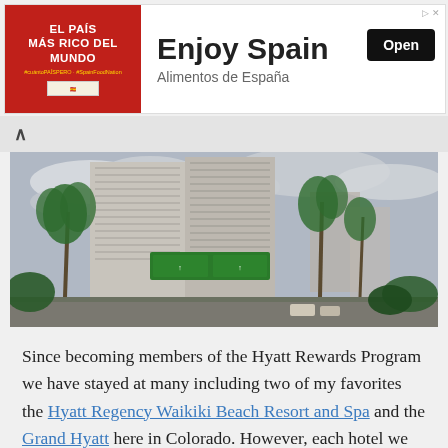[Figure (screenshot): Advertisement banner: red left panel with 'EL PAÍS MÁS RICO DEL MUNDO' text in white, right panel with 'Enjoy Spain' heading and 'Alimentos de España' subtext, black 'Open' button]
[Figure (photo): Exterior photo of a tall hotel/skyscraper building with palm trees in foreground, overcast sky, and highway green signs visible]
Since becoming members of the Hyatt Rewards Program we have stayed at many including two of my favorites the Hyatt Regency Waikiki Beach Resort and Spa and the Grand Hyatt here in Colorado. However, each hotel we stay at and